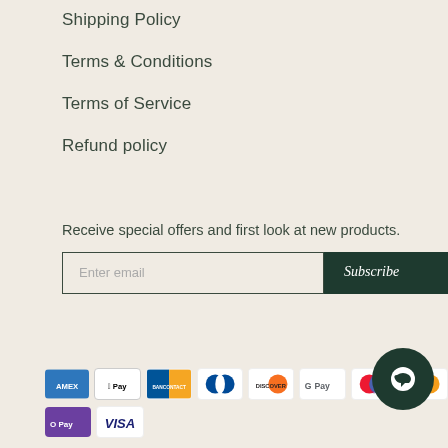Shipping Policy
Terms & Conditions
Terms of Service
Refund policy
Receive special offers and first look at new products.
[Figure (screenshot): Email subscription form with 'Enter email' input field and dark green 'Subscribe' button]
[Figure (infographic): Payment method icons: American Express, Apple Pay, Bancontact, Diners Club, Discover, Google Pay, Maestro, Mastercard, O Pay, Visa]